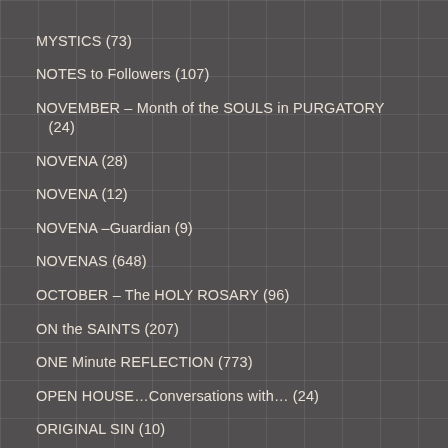MYSTICS (73)
NOTES to Followers (107)
NOVEMBER – Month of the SOULS in PURGATORY (24)
NOVENA (28)
NOVENA (12)
NOVENA –Guardian (9)
NOVENAS (648)
OCTOBER – The HOLY ROSARY (96)
ON the SAINTS (207)
ONE Minute REFLECTION (773)
OPEN HOUSE…Conversations with… (24)
ORIGINAL SIN (10)